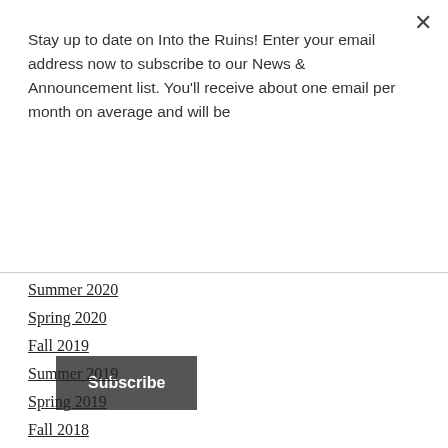×
Stay up to date on Into the Ruins! Enter your email address now to subscribe to our News & Announcement list. You'll receive about one email per month on average and will be
Subscribe
Summer 2020
Spring 2020
Fall 2019
Summer 2019
Spring 2019
Fall 2018
Summer 2018
Spring 2018
Winter 2018
Fall 2017
Summer 2017
Spring 2017